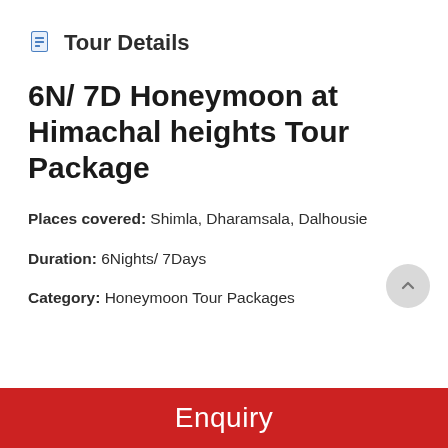Tour Details
6N/ 7D Honeymoon at Himachal heights Tour Package
Places covered: Shimla, Dharamsala, Dalhousie
Duration: 6Nights/ 7Days
Category: Honeymoon Tour Packages
Enquiry